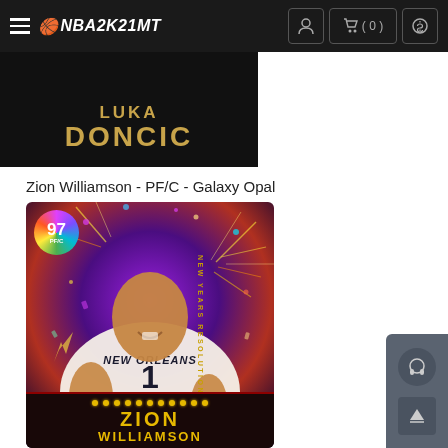≡ 🏀NBA2K21MT  [user icon] [cart (0)] [$]
[Figure (illustration): Luka Doncic NBA 2K21 player card (partially visible), showing gold/yellow text 'LUKA DONCIC' on dark background]
Zion Williamson - PF/C - Galaxy Opal - 97 OVR
[Figure (illustration): Zion Williamson NBA 2K21 Galaxy Opal card (97 OVR, PF/C, New Orleans Pelicans, New Years Resolution). Player shown wearing New Orleans jersey #1 against colorful fireworks background. Bottom shows 'ZION WILLIAMSON' name plate with marquee lights.]